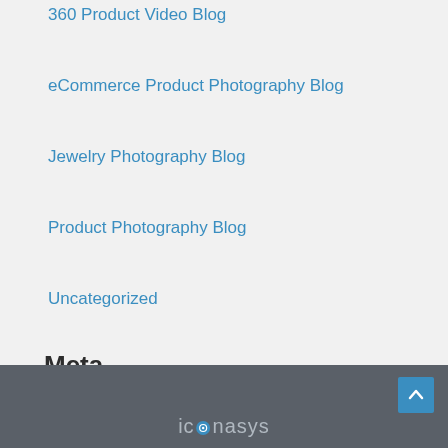360 Product Video Blog
eCommerce Product Photography Blog
Jewelry Photography Blog
Product Photography Blog
Uncategorized
Meta
Log in
Entries feed
Comments feed
WordPress.org
iconasys